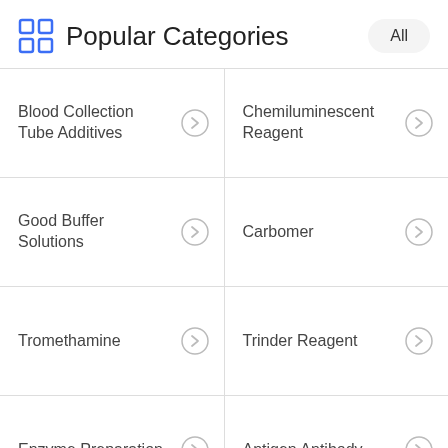Popular Categories
Blood Collection Tube Additives
Chemiluminescent Reagent
Good Buffer Solutions
Carbomer
Tromethamine
Trinder Reagent
Enzyme Preparation
Antigen Antibody
E-mail
Subscribe